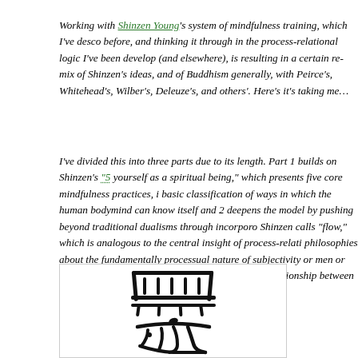Working with Shinzen Young's system of mindfulness training, which I've described before, and thinking it through in the process-relational logic I've been developing (and elsewhere), is resulting in a certain re-mix of Shinzen's ideas, and of Buddhism generally, with Peirce's, Whitehead's, Wilber's, Deleuze's, and others'. Here's where it's taking me…
I've divided this into three parts due to its length. Part 1 builds on Shinzen's "5 ways to know yourself as a spiritual being," which presents five core mindfulness practices, i.e., a basic classification of ways in which the human bodymind can know itself and the world. Part 2 deepens the model by pushing beyond traditional dualisms through incorporating what Shinzen calls "flow," which is analogous to the central insight of process-relational philosophies about the fundamentally processual nature of subjectivity or mentality, or materiality, and the dynamic and interdependent relationship between the two. Part 3 provides some concluding thoughts and caveats.
[Figure (illustration): Chinese/Japanese calligraphy characters (無為, Wu Wei) in black brush stroke style on white background, inside a light gray bordered box.]